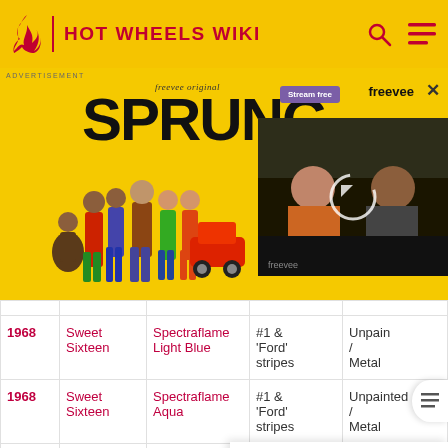HOT WHEELS WIKI
[Figure (screenshot): Advertisement for Freevee Original series SPRUNG with cast members and video thumbnail]
| Year | Model | Color | Number | Base |
| --- | --- | --- | --- | --- |
| 1968 | Sweet Sixteen | Spectraflame Light Blue | #1 & 'Ford' stripes | Unpainted / Metal |
| 1968 | Sweet Sixteen | Spectraflame Aqua | #1 & 'Ford' stripes | Unpainted / Metal |
| 1968 | Sweet Sixteen | Spectraflame Olive | #1 & 'Ford' stripes | Unpainted / Metal |